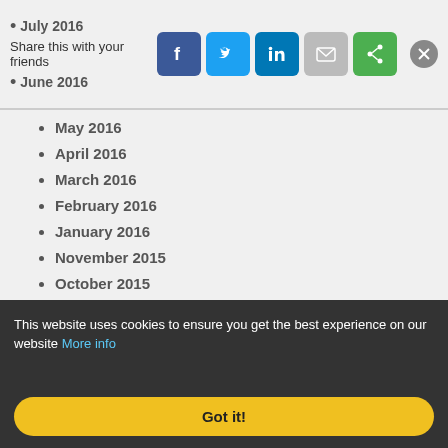July 2016
Share this with your friends
June 2016
May 2016
April 2016
March 2016
February 2016
January 2016
November 2015
October 2015
September 2015
August 2015
July 2015
This website uses cookies to ensure you get the best experience on our website More info
Got it!